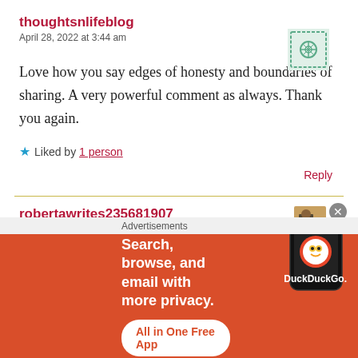thoughtsnlifeblog
April 28, 2022 at 3:44 am
Love how you say edges of honesty and boundaries of sharing. A very powerful comment as always. Thank you again.
★ Liked by 1 person
Reply
robertawrites235681907
[Figure (infographic): DuckDuckGo advertisement banner with text: Search, browse, and email with more privacy. All in One Free App. Shows a phone with the DuckDuckGo logo.]